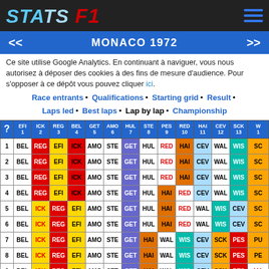STATS F1
MONACO 1972
Ce site utilise Google Analytics. En continuant à naviguer, vous nous autorisez à déposer des cookies à des fins de mesure d'audience. Pour s'opposer à ce dépôt vous pouvez cliquer ici.
Race entrants • Qualifications • Starting grid • Result • Laps led • Best laps • Lap by lap • Championship
| ? | EFI 1 | ICK 2 | REG 3 | BEL 4 | GET 5 | AMO 6 | HUL 7 | STE 8 | PES 9 | RED 10 | HAI 11 | CEV 12 | SCK 13 | W... |
| --- | --- | --- | --- | --- | --- | --- | --- | --- | --- | --- | --- | --- | --- | --- |
| 1 | BEL | REG | EFI | ICK | AMO | STE | GET | HUL | RED | HAI | CEV | WAL | WIS | SC |
| 2 | BEL | REG | EFI | ICK | AMO | STE | GET | HUL | RED | HAI | CEV | WAL | WIS | SC |
| 3 | BEL | REG | EFI | ICK | AMO | STE | GET | HUL | RED | HAI | CEV | WAL | WIS | SC |
| 4 | BEL | REG | EFI | ICK | AMO | STE | GET | HUL | HAI | RED | CEV | WAL | WIS | SC |
| 5 | BEL | ICK | REG | EFI | AMO | STE | GET | HUL | HAI | RED | WAL | WIS | CEV | SC |
| 6 | BEL | ICK | REG | EFI | AMO | STE | GET | HUL | HAI | RED | WAL | WIS | CEV | SC |
| 7 | BEL | ICK | REG | EFI | AMO | STE | GET | HAI | WAL | WIS | CEV | SCK | PES | PU |
| 8 | BEL | ICK | REG | EFI | AMO | STE | GET | HAI | WAL | WIS | CEV | SCK | PES | PE |
| 9 | BEL | ICK | REG | EFI | AMO | STE | GET | HAI | WAL | WIS | CEV | SCK | PES | MA |
| 10 | BEL | ICK | REG | EFI | AMO | STE | GET | HAI | WAL | WIS | CEV | SCK | PES | MA |